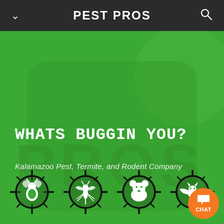PEST PROS
WHATS BUGGIN YOU?
Kalamazoo Pest, Termite, and Rodent Company
[Figure (illustration): Four circular crosshair target icons on green background: ant/wasp, mosquito/flying insect, rodent/mouse, and bat. Bottom-right has an orange chat button with 'CHAT' text.]